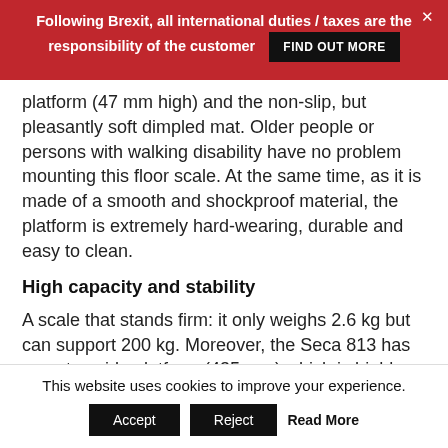Following Brexit, all international duties / taxes are the responsibility of the customer  FIND OUT MORE
platform (47 mm high) and the non-slip, but pleasantly soft dimpled mat. Older people or persons with walking disability have no problem mounting this floor scale. At the same time, as it is made of a smooth and shockproof material, the platform is extremely hard-wearing, durable and easy to clean.
High capacity and stability
A scale that stands firm: it only weighs 2.6 kg but can support 200 kg. Moreover, the Seca 813 has an extra wide platform (435 mm) which is highly stable due to the integrated steel
This website uses cookies to improve your experience.  Accept  Reject  Read More